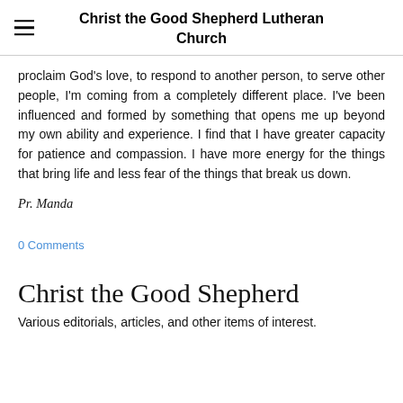Christ the Good Shepherd Lutheran Church
proclaim God's love, to respond to another person, to serve other people, I'm coming from a completely different place. I've been influenced and formed by something that opens me up beyond my own ability and experience. I find that I have greater capacity for patience and compassion. I have more energy for the things that bring life and less fear of the things that break us down.
Pr. Manda
0 Comments
Christ the Good Shepherd
Various editorials, articles, and other items of interest.